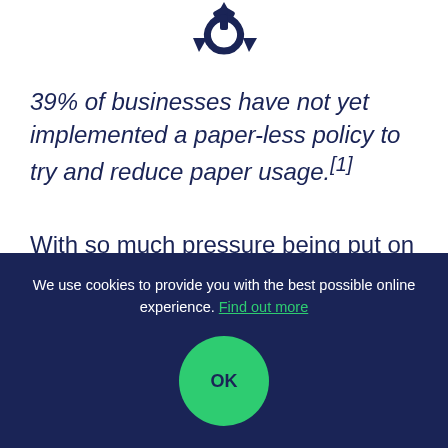[Figure (illustration): Recycling symbol icon in dark navy blue color at the top center of the page]
39% of businesses have not yet implemented a paper-less policy to try and reduce paper usage.[1]
With so much pressure being put on individuals and businesses to become
We use cookies to provide you with the best possible online experience. Find out more
OK